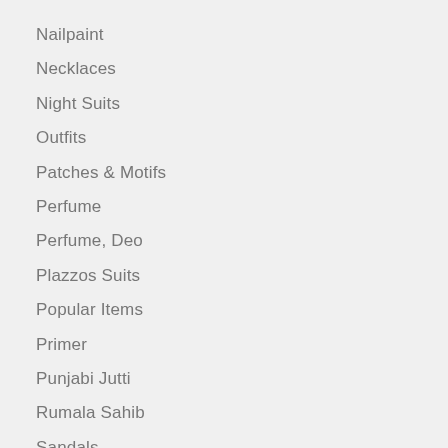Nailpaint
Necklaces
Night Suits
Outfits
Patches & Motifs
Perfume
Perfume, Deo
Plazzos Suits
Popular Items
Primer
Punjabi Jutti
Rumala Sahib
Sandals
Sarees
School Shoes